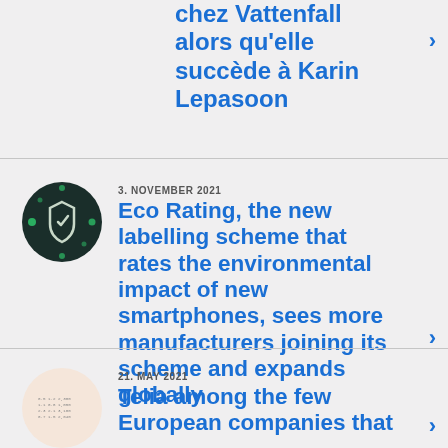chez Vattenfall alors qu'elle succède à Karin Lepasoon
3. NOVEMBER 2021
[Figure (logo): Dark circular icon with a shield/bookmark logo and green dot accents on dark background]
Eco Rating, the new labelling scheme that rates the environmental impact of new smartphones, sees more manufacturers joining its scheme and expands globally
21. MAY 2021
[Figure (other): Light beige/pink circular icon with small data table text]
Telia among the few European companies that